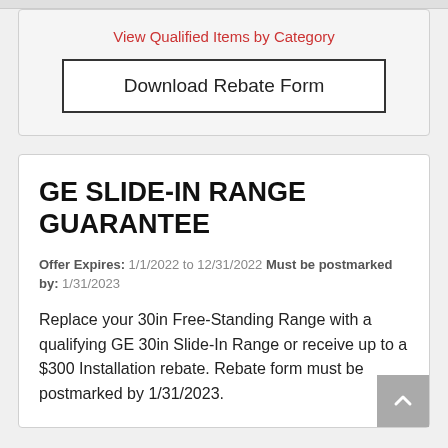View Qualified Items by Category
Download Rebate Form
GE SLIDE-IN RANGE GUARANTEE
Offer Expires: 1/1/2022 to 12/31/2022 Must be postmarked by: 1/31/2023
Replace your 30in Free-Standing Range with a qualifying GE 30in Slide-In Range or receive up to a $300 Installation rebate. Rebate form must be postmarked by 1/31/2023.